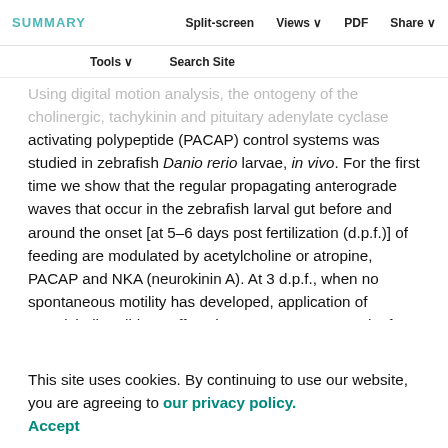SUMMARY | Split-screen | Views | PDF | Share
Tools | Search Site
Using digital motion analysis, the ontogeny of the cholinergic, tachykinin and pituitary adenylate cyclase activating polypeptide (PACAP) control systems was studied in zebrafish Danio rerio larvae, in vivo. For the first time we show that the regular propagating anterograde waves that occur in the zebrafish larval gut before and around the onset [at 5–6 days post fertilization (d.p.f.)] of feeding are modulated by acetylcholine or atropine, PACAP and NKA (neurokinin A). At 3 d.p.f., when no spontaneous motility has developed, application of acetylcholine did not affect the gut. However, at 4 d.p.f., acetylcholine increased and atropine reduced the frequency of propagating anterograde waves. At 5 d.p.f., NKA increased and PACAP reduced the wave frequency. This suggests that both excitatory and inhibitory pathways develop at an early stage in the gut, independent of exogenous feeding.
This site uses cookies. By continuing to use our website, you are agreeing to our privacy policy. Accept